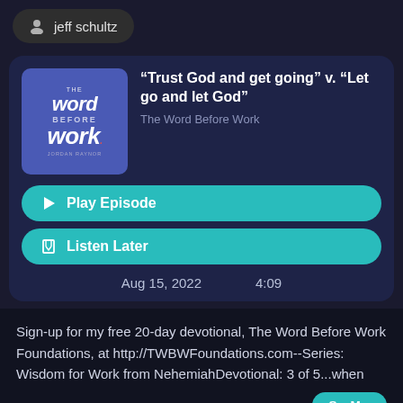jeff schultz
[Figure (screenshot): Podcast app UI card showing 'The Word Before Work' podcast episode]
“Trust God and get going” v. “Let go and let God”
The Word Before Work
Play Episode
Listen Later
Aug 15, 2022    4:09
Sign-up for my free 20-day devotional, The Word Before Work Foundations, at http://TWBWFoundations.com--Series: Wisdom for Work from NehemiahDevotional: 3 of 5...when